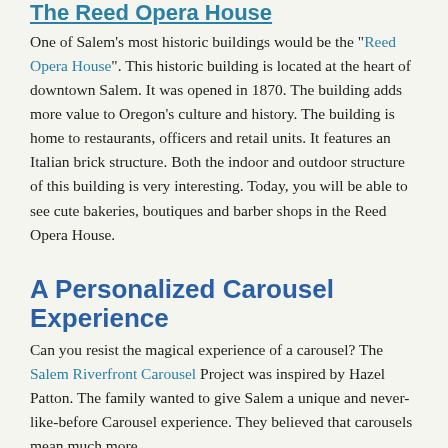The Reed Opera House
One of Salem's most historic buildings would be the "Reed Opera House". This historic building is located at the heart of downtown Salem. It was opened in 1870. The building adds more value to Oregon's culture and history. The building is home to restaurants, officers and retail units. It features an Italian brick structure. Both the indoor and outdoor structure of this building is very interesting. Today, you will be able to see cute bakeries, boutiques and barber shops in the Reed Opera House.
A Personalized Carousel Experience
Can you resist the magical experience of a carousel? The Salem Riverfront Carousel Project was inspired by Hazel Patton. The family wanted to give Salem a unique and never-like-before Carousel experience. They believed that carousels mean much more